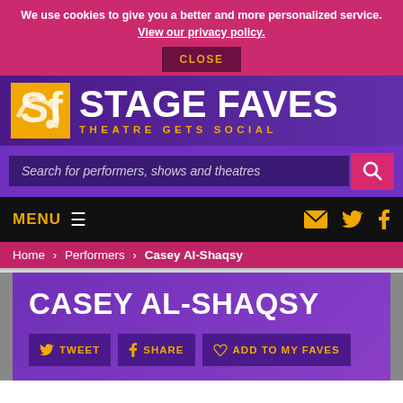We use cookies to give you a better and more personalized service. View our privacy policy.
CLOSE
[Figure (logo): Stage Faves logo: yellow square with stylized SF icon, white STAGE FAVES text, yellow THEATRE GETS SOCIAL tagline, on purple gradient background]
Search for performers, shows and theatres
MENU
Home › Performers › Casey Al-Shaqsy
CASEY AL-SHAQSY
TWEET
SHARE
ADD TO MY FAVES